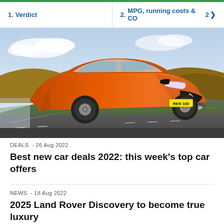1. Verdict | 2. MPG, running costs & CO2 >
[Figure (photo): Orange Renault Captur SUV driving on a road with registration plate REN 100, photographed from front-right angle with motion blur background.]
DEALS - 26 Aug 2022
Best new car deals 2022: this week's top car offers
NEWS - 18 Aug 2022
2025 Land Rover Discovery to become true luxury